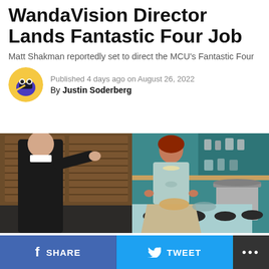WandaVision Director Lands Fantastic Four Job
Matt Shakman reportedly set to direct the MCU's Fantastic Four
Published 4 days ago on August 26, 2022
By Justin Soderberg
[Figure (photo): Scene from WandaVision showing a man in a dark suit pointing at a woman in a 1950s-style light blue dress standing in a retro kitchen set]
SHARE   TWEET   ...